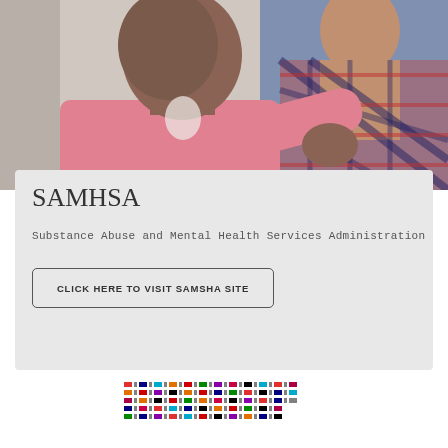[Figure (photo): Two people, one in a pink shirt touching the shoulder of another person in a plaid shirt, appearing to offer comfort or support. Counseling or mental health support scene.]
SAMHSA
Substance Abuse and Mental Health Services Administration
CLICK HERE TO VISIT SAMSHA SITE
[Figure (logo): Colorful grid pattern of small colored squares and dashes, resembling a decorative logo or banner.]